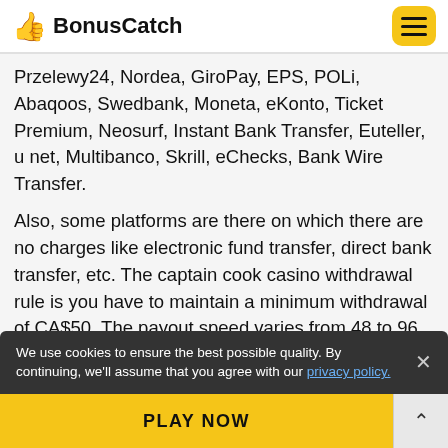BonusCatch
Przelewy24, Nordea, GiroPay, EPS, POLi, Abaqoos, Swedbank, Moneta, eKonto, Ticket Premium, Neosurf, Instant Bank Transfer, Euteller, u net, Multibanco, Skrill, eChecks, Bank Wire Transfer.
Also, some platforms are there on which there are no charges like electronic fund transfer, direct bank transfer, etc. The captain cook casino withdrawal rule is you have to maintain a minimum withdrawal of CA$50. The payout speed varies from 48 to 96 hours, and the website is SSL encrypted.
We use cookies to ensure the best possible quality. By continuing, we'll assume that you agree with our privacy policy.
PLAY NOW